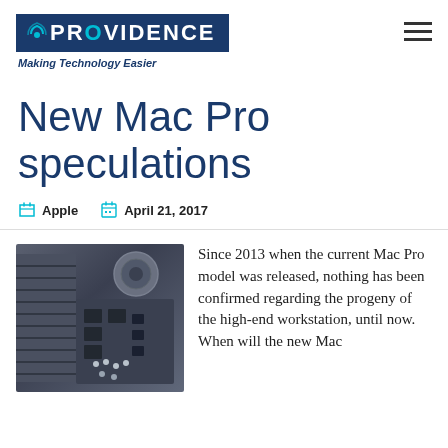PROVIDENCE — Making Technology Easier
New Mac Pro speculations
Apple   April 21, 2017
[Figure (photo): Close-up photo of Mac Pro internal hardware components, showing circuit boards and metallic elements in a dark gray/silver color scheme]
Since 2013 when the current Mac Pro model was released, nothing has been confirmed regarding the progeny of the high-end workstation, until now. When will the new Mac